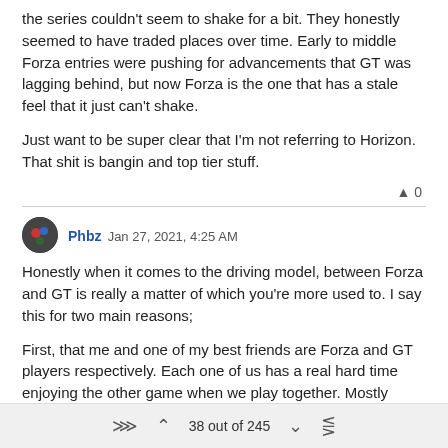the series couldn't seem to shake for a bit. They honestly seemed to have traded places over time. Early to middle Forza entries were pushing for advancements that GT was lagging behind, but now Forza is the one that has a stale feel that it just can't shake.
Just want to be super clear that I'm not referring to Horizon. That shit is bangin and top tier stuff.
▲ 0
Phbz Jan 27, 2021, 4:25 AM
Honestly when it comes to the driving model, between Forza and GT is really a matter of which you're more used to. I say this for two main reasons;
First, that me and one of my best friends are Forza and GT players respectively. Each one of us has a real hard time enjoying the other game when we play together. Mostly because both driving models are quite different (and semi-crappy from a simulation stand point).
Second, because from what I've gathered from several sim racers,
38 out of 245